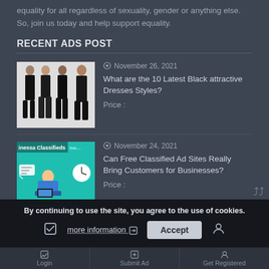equality for all regardless of sexuality, gender or anything else. So, join us today and help support equality.
RECENT ADS POST
[Figure (photo): Thumbnail image showing four women in black outfits against a white background]
November 26, 2021 — What are the 10 Latest Black attractive Dresses Styles? Price :
[Figure (illustration): Thumbnail image of inessa Classifieds business classified ad sites illustration with man at computer and messaging icons on teal background]
November 24, 2021 — Can Free Classified Ad Sites Really Bring Customers for Businesses? Price :
By continuing to use the site, you agree to the use of cookies.
more information
Accept
Login | Submit Ad | Get Registered